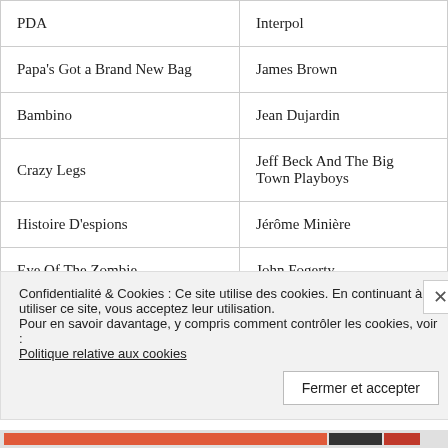| Song | Artist |
| --- | --- |
| PDA | Interpol |
| Papa's Got a Brand New Bag | James Brown |
| Bambino | Jean Dujardin |
| Crazy Legs | Jeff Beck And The Big Town Playboys |
| Histoire D'espions | Jérôme Minière |
| Eye Of The Zombie | John Fogerty |
| Transmission | Joy Division |
Confidentialité & Cookies : Ce site utilise des cookies. En continuant à utiliser ce site, vous acceptez leur utilisation.
Pour en savoir davantage, y compris comment contrôler les cookies, voir :
Politique relative aux cookies
Fermer et accepter